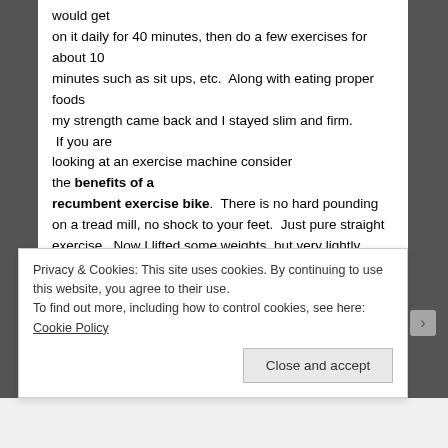would get on it daily for 40 minutes, then do a few exercises for about 10 minutes such as sit ups, etc.  Along with eating proper foods my strength came back and I stayed slim and firm.  If you are looking at an exercise machine consider the benefits of a recumbent exercise bike.  There is no hard pounding on a tread mill, no shock to your feet.  Just pure straight exercise.  Now I lifted some weights, but very lightly weights during that 10 minutes after so my upper body would build strength.  So each day I devoted almost an hour to
Privacy & Cookies: This site uses cookies. By continuing to use this website, you agree to their use.
To find out more, including how to control cookies, see here: Cookie Policy
Close and accept